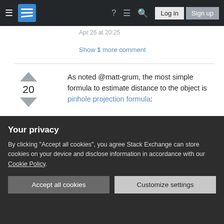Stack Exchange navigation bar with hamburger menu, logo, help, chat, search icons, Log in and Sign up buttons
Apr 26 at 20:25
Show 1 more comment
As noted @matt-grum, the most simple formula to estimate distance to the object is pinhole projection formula:
where x is the size of the object on the sensor, f is
Your privacy
By clicking "Accept all cookies", you agree Stack Exchange can store cookies on your device and disclose information in accordance with our Cookie Policy.
5.008e-3 mm/px, i.e. an image 100 px long